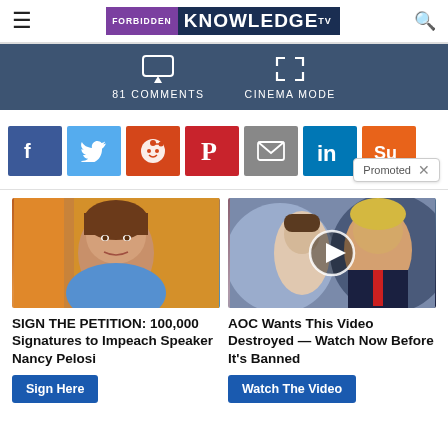FORBIDDEN KNOWLEDGE TV
81 COMMENTS   CINEMA MODE
[Figure (screenshot): Social share buttons row: Facebook, Twitter, Reddit, Pinterest, Email, LinkedIn, StumbleUpon]
Promoted X
[Figure (photo): Photo of Nancy Pelosi]
SIGN THE PETITION: 100,000 Signatures to Impeach Speaker Nancy Pelosi
Sign Here
[Figure (photo): Photo of Melania Trump and Donald Trump with play button overlay]
AOC Wants This Video Destroyed — Watch Now Before It's Banned
Watch The Video